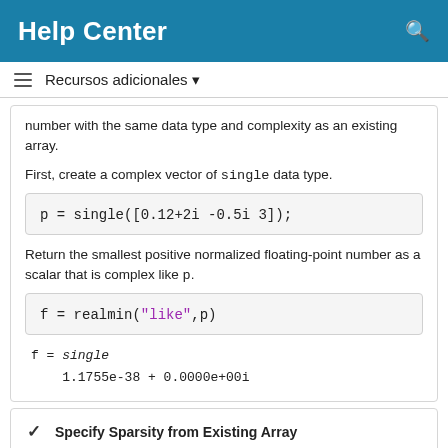Help Center
Recursos adicionales
number with the same data type and complexity as an existing array.
First, create a complex vector of single data type.
Return the smallest positive normalized floating-point number as a scalar that is complex like p.
f = single
    1.1755e-38 + 0.0000e+00i
Specify Sparsity from Existing Array